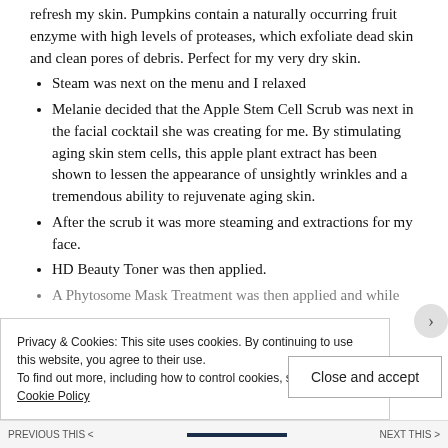refresh my skin. Pumpkins contain a naturally occurring fruit enzyme with high levels of proteases, which exfoliate dead skin and clean pores of debris. Perfect for my very dry skin.
Steam was next on the menu and I relaxed
Melanie decided that the Apple Stem Cell Scrub was next in the facial cocktail she was creating for me. By stimulating aging skin stem cells, this apple plant extract has been shown to lessen the appearance of unsightly wrinkles and a tremendous ability to rejuvenate aging skin.
After the scrub it was more steaming and extractions for my face.
HD Beauty Toner was then applied.
A Phytosome Mask Treatment was then applied and while
Privacy & Cookies: This site uses cookies. By continuing to use this website, you agree to their use.
To find out more, including how to control cookies, see here: Cookie Policy
Close and accept